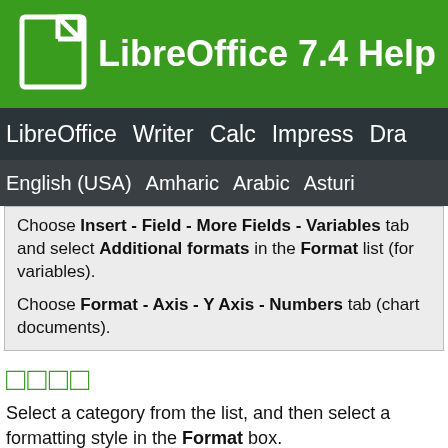LibreOffice 7.4 Help
LibreOffice Writer Calc Impress Dra
English (USA) Amharic Arabic Asturi
Choose Insert - Field - More Fields - Variables tab and select Additional formats in the Format list (for variables).
Choose Format - Axis - Y Axis - Numbers tab (chart documents).
□□□□
Select a category from the list, and then select a formatting style in the Format box.
□□□□